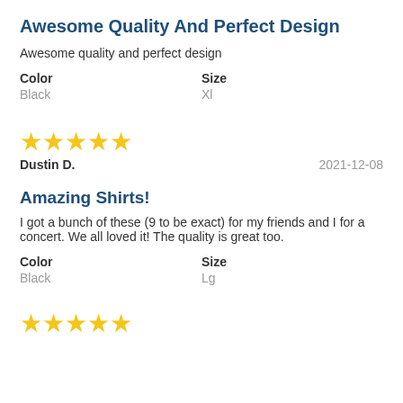Awesome Quality And Perfect Design
Awesome quality and perfect design
Color
Black
Size
Xl
[Figure (other): 5 yellow stars rating]
Dustin D.
2021-12-08
Amazing Shirts!
I got a bunch of these (9 to be exact) for my friends and I for a concert. We all loved it! The quality is great too.
Color
Black
Size
Lg
[Figure (other): 5 yellow stars rating (partial view)]